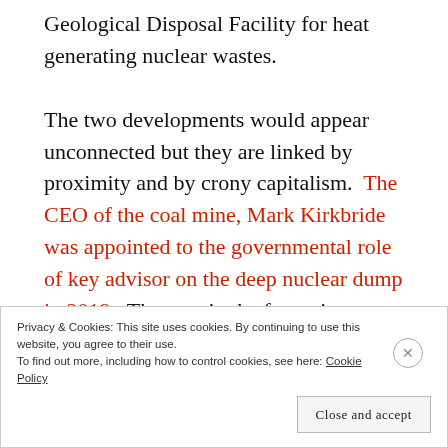Geological Disposal Facility for heat generating nuclear wastes. The two developments would appear unconnected but they are linked by proximity and by crony capitalism. The CEO of the coal mine, Mark Kirkbride was appointed to the governmental role of key advisor on the deep nuclear dump in 2019. The area in the frame is adjacent to the coal mine licence area No 2 (the area with least known coal resource and nearest to Sellafield).
Privacy & Cookies: This site uses cookies. By continuing to use this website, you agree to their use. To find out more, including how to control cookies, see here: Cookie Policy